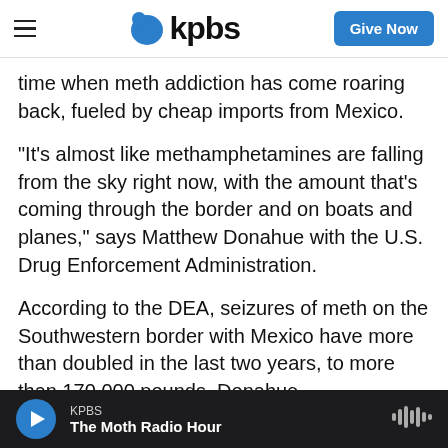KPBS — Give Now
time when meth addiction has come roaring back, fueled by cheap imports from Mexico.
"It's almost like methamphetamines are falling from the sky right now, with the amount that's coming through the border and on boats and planes," says Matthew Donahue with the U.S. Drug Enforcement Administration.
According to the DEA, seizures of meth on the Southwestern border with Mexico have more than doubled in the last two years, to more than 170,000 pounds. Donahue acknowledged that effort hasn't
KPBS — The Moth Radio Hour